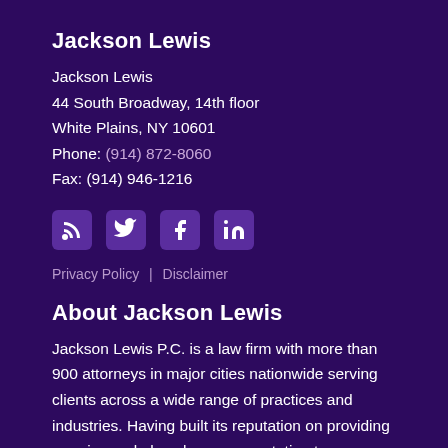Jackson Lewis
Jackson Lewis
44 South Broadway, 14th floor
White Plains, NY 10601
Phone: (914) 872-8060
Fax: (914) 946-1216
[Figure (illustration): Four social media icons: RSS feed, Twitter, Facebook, LinkedIn]
Privacy Policy | Disclaimer
About Jackson Lewis
Jackson Lewis P.C. is a law firm with more than 900 attorneys in major cities nationwide serving clients across a wide range of practices and industries. Having built its reputation on providing premier workplace law representation to management, the firm has grown to